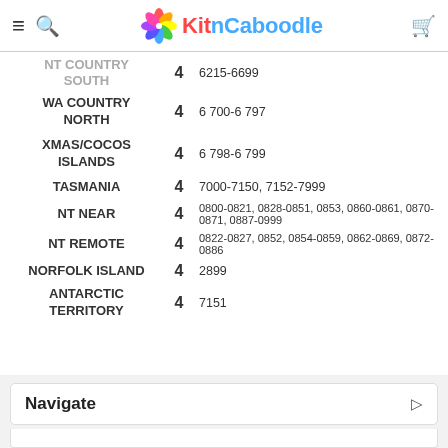KitnCaboodle
| Region | Zone | Postcode Ranges |
| --- | --- | --- |
| WA COUNTRY SOUTH (partial) | 4 | 6215-6699 |
| WA COUNTRY NORTH | 4 | 6700-6797 |
| XMAS/COCOS ISLANDS | 4 | 6798-6799 |
| TASMANIA | 4 | 7000-7150, 7152-7999 |
| NT NEAR | 4 | 0800-0821, 0828-0851, 0853, 0860-0861, 0870-0871, 0887-0999 |
| NT REMOTE | 4 | 0822-0827, 0852, 0854-0859, 0862-0869, 0872-0886 |
| NORFOLK ISLAND | 4 | 2899 |
| ANTARCTIC TERRITORY | 4 | 7151 |
Navigate